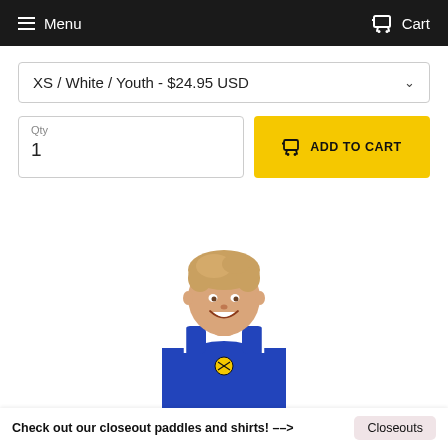Menu  Cart
XS / White / Youth - $24.95 USD
Qty
1
ADD TO CART
[Figure (photo): Young smiling boy wearing a blue sleeveless athletic shirt with a pickleball logo]
Check out our closeout paddles and shirts! --> Closeouts